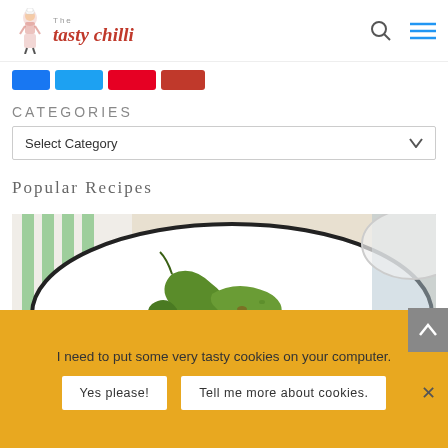The Tasty Chilli
[Figure (logo): The Tasty Chilli logo with chef character and red italic script text]
CATEGORIES
Select Category
Popular Recipes
[Figure (photo): Food photo showing cooked green chilli peppers on a white plate with dark rim, with green striped cloth in background]
I need to put some very tasty cookies on your computer.
Yes please!
Tell me more about cookies.